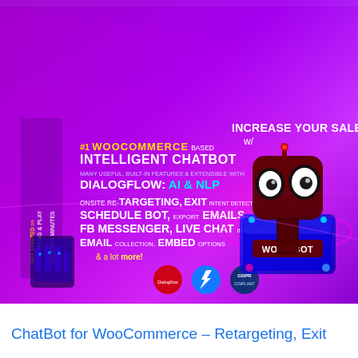[Figure (illustration): WooCommerce chatbot promotional banner with purple/magenta gradient background. Left side shows rotated sidebar text 'PLUG & PLAY' and 'SETMIN 5 MINUTES'. Main text includes '#1 WOOCOMMERCE BASED INTELLIGENT CHATBOT', 'MANY USEFUL, BUILT-IN FEATURES & EXTENSIBLE WITH DIALOGFLOW: AI & NLP', 'ONSITE RE-TARGETING, EXIT INTENT DETECTION', 'SCHEDULE BOT, EXPORT EMAILS', 'FB MESSENGER, LIVE CHAT INTEGRATION', 'EMAIL COLLECTION, EMBED OPTIONS', '& a lot more!'. Bottom shows logos for Dialogflow, Facebook Messenger, and GDPR. Right side shows a dark maroon robot character with white oval eyes on a glowing platform labeled 'WOOWBOT'. Text 'INCREASE YOUR SALES w/' appears in upper right.]
ChatBot for WooCommerce – Retargeting, Exit